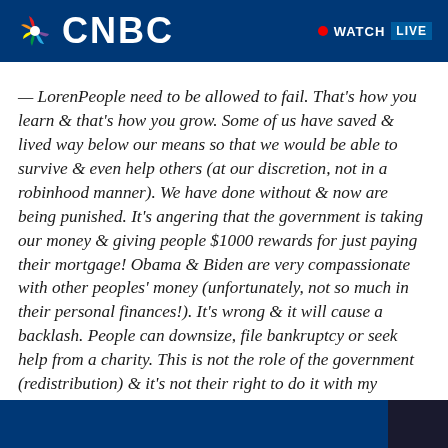CNBC — WATCH LIVE
— LorenPeople need to be allowed to fail. That's how you learn & that's how you grow. Some of us have saved & lived way below our means so that we would be able to survive & even help others (at our discretion, not in a robinhood manner). We have done without & now are being punished. It's angering that the government is taking our money & giving people $1000 rewards for just paying their mortgage! Obama & Biden are very compassionate with other peoples' money (unfortunately, not so much in their personal finances!). It's wrong & it will cause a backlash. People can downsize, file bankruptcy or seek help from a charity. This is not the role of the government (redistribution) & it's not their right to do it with my